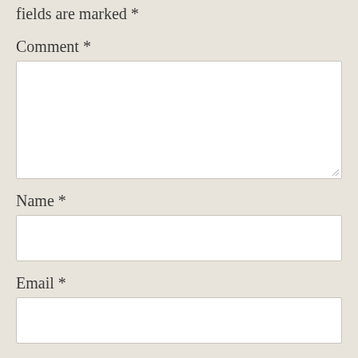fields are marked *
Comment *
Name *
Email *
Website